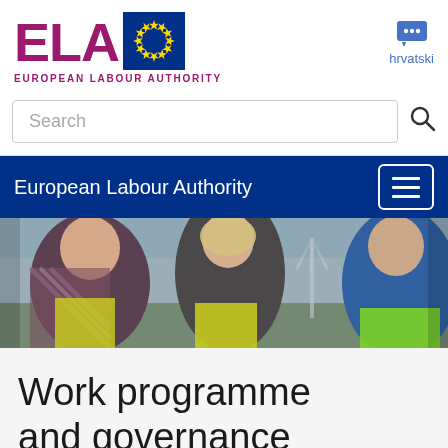[Figure (logo): ELA - European Labour Authority logo with EU flag stars, purple text]
hrvatski
Search
European Labour Authority
[Figure (photo): Outdoor photo of workers in high-visibility vests talking, foggy background with wind turbines]
Work programme and governance